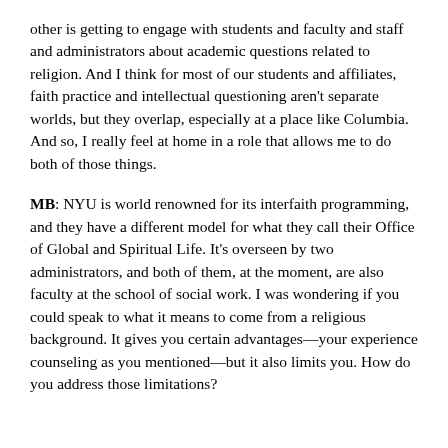other is getting to engage with students and faculty and staff and administrators about academic questions related to religion. And I think for most of our students and affiliates, faith practice and intellectual questioning aren't separate worlds, but they overlap, especially at a place like Columbia. And so, I really feel at home in a role that allows me to do both of those things.
MB: NYU is world renowned for its interfaith programming, and they have a different model for what they call their Office of Global and Spiritual Life. It's overseen by two administrators, and both of them, at the moment, are also faculty at the school of social work. I was wondering if you could speak to what it means to come from a religious background. It gives you certain advantages—your experience counseling as you mentioned—but it also limits you. How do you address those limitations?